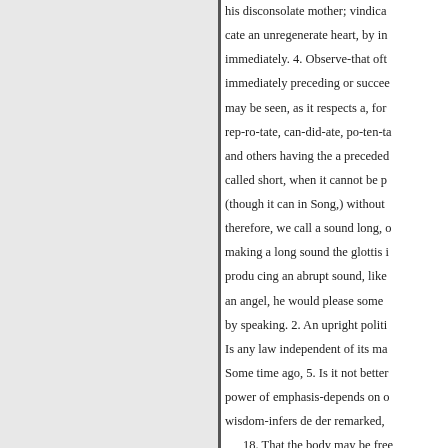his disconsolate mother; vindica cate an unregenerate heart, by in immediately. 4. Observe-that oft immediately preceding or succee may be seen, as it respects a, for rep-ro-tate, can-did-ate, po-ten-ta and others having the a preceded called short, when it cannot be p (though it can in Song,) without therefore, we call a sound long, o making a long sound the glottis i produ cing an abrupt sound, like an angel, he would please some by speaking. 2. An upright politi Is any law independent of its ma Some time ago, 5. Is it not better power of emphasis-depends on c wisdom-infers de der remarked, 18. That the body may be free compressions and contractions m to interfere with the proper actio